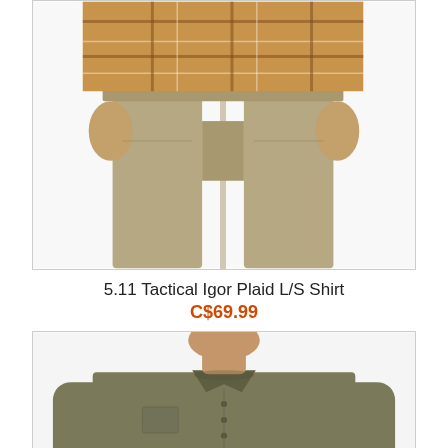[Figure (photo): Cropped photo showing lower torso of a person wearing a plaid long-sleeve shirt and khaki pants, hands at sides, white background.]
5.11 Tactical Igor Plaid L/S Shirt
C$69.99
[Figure (photo): Photo showing upper torso and head (face partially cropped) of a man wearing an olive/khaki solid long-sleeve button-down shirt, white background.]